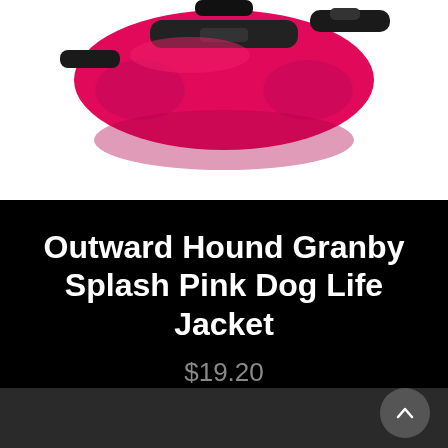[Figure (photo): Partial image of an Outward Hound Granby Splash Pink Dog Life Jacket on white background, showing the pink and black product from above.]
Outward Hound Granby Splash Pink Dog Life Jacket
$19.20
SELECT OPTIONS